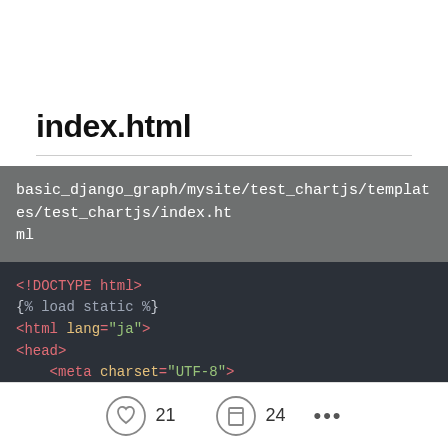index.html
basic_django_graph/mysite/test_chartjs/templates/test_chartjs/index.html
<!DOCTYPE html>
{% load static %}
<html lang="ja">
<head>
    <meta charset="UTF-8">
    <meta name="viewport" content="width=device-width,
    <meta http-equiv="X-UA-Compatible" content="ie=edg
    <title>Document</title>
21 likes  24 bookmarks